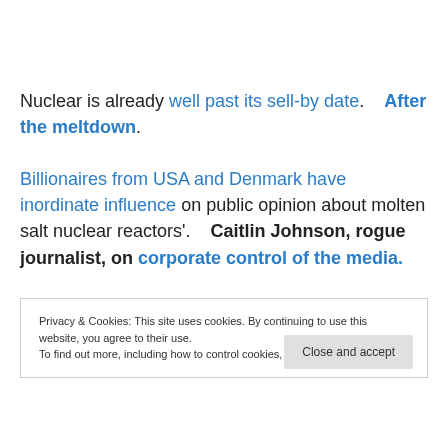Nuclear is already well past its sell-by date. After the meltdown. Billionaires from USA and Denmark have inordinate influence on public opinion about molten salt nuclear reactors'. Caitlin Johnson, rogue journalist, on corporate control of the media.
Privacy & Cookies: This site uses cookies. By continuing to use this website, you agree to their use. To find out more, including how to control cookies, see here: Cookie Policy
Close and accept